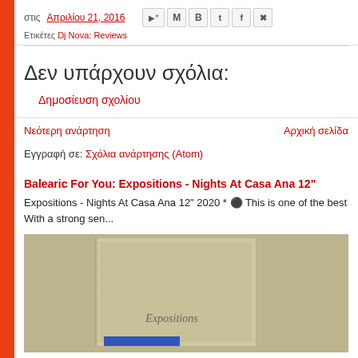στις Απριλίου 21, 2016
Ετικέτες Dj Nova: Reviews
Δεν υπάρχουν σχόλια:
Δημοσίευση σχολίου
Νεότερη ανάρτηση   Αρχική σελίδα
Εγγραφή σε: Σχόλια ανάρτησης (Atom)
Balearic For You: Expositions - Nights At Casa Ana 12"
Expositions - Nights At Casa Ana 12" 2020 * ⬤ This is one of the best... With a strong sen...
[Figure (photo): Photo of a vinyl record album cover showing 'Expositions' text, with beige/brown textured background and blue strip at bottom]